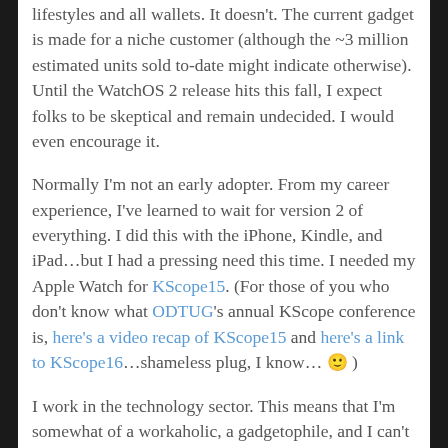lifestyles and all wallets. It doesn't. The current gadget is made for a niche customer (although the ~3 million estimated units sold to-date might indicate otherwise). Until the WatchOS 2 release hits this fall, I expect folks to be skeptical and remain undecided. I would even encourage it.
Normally I'm not an early adopter. From my career experience, I've learned to wait for version 2 of everything. I did this with the iPhone, Kindle, and iPad…but I had a pressing need this time. I needed my Apple Watch for KScope15. (For those of you who don't know what ODTUG's annual KScope conference is, here's a video recap of KScope15 and here's a link to KScope16…shameless plug, I know… 🙂 )
I work in the technology sector. This means that I'm somewhat of a workaholic, a gadgetophile, and I can't be parted very long from the internet without getting agitated.